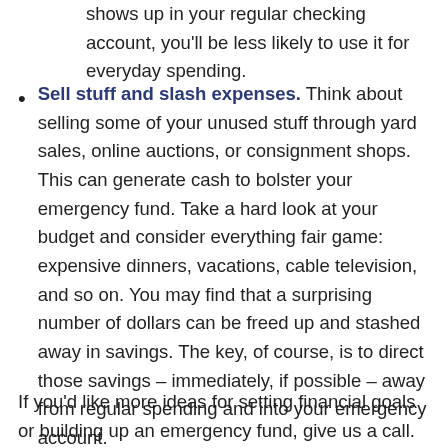shows up in your regular checking account, you'll be less likely to use it for everyday spending.
Sell stuff and slash expenses. Think about selling some of your unused stuff through yard sales, online auctions, or consignment shops. This can generate cash to bolster your emergency fund. Take a hard look at your budget and consider everything fair game: expensive dinners, vacations, cable television, and so on. You may find that a surprising number of dollars can be freed up and stashed away in savings. The key, of course, is to direct those savings – immediately, if possible – away from regular spending and into your emergency account.
If you'd like more ideas for setting financial goals or building up an emergency fund, give us a call.